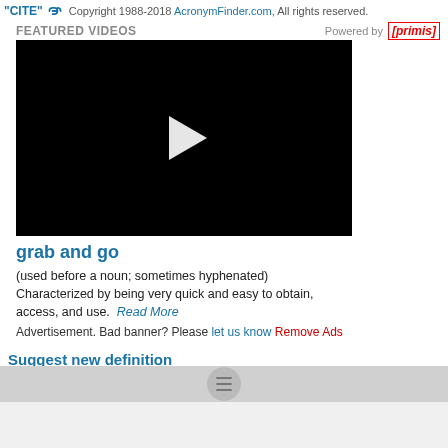"CITE" Copyright 1988-2018 AcronymFinder.com, All rights reserved.
FEATURED VIDEOS Powered by [primis]
[Figure (screenshot): Black video player with white play button triangle in the center]
grab and go
(used before a noun; sometimes hyphenated) Characterized by being very quick and easy to obtain, access, and use. Read More
Advertisement. Bad banner? Please let us know Remove Ads
Suggest new definition